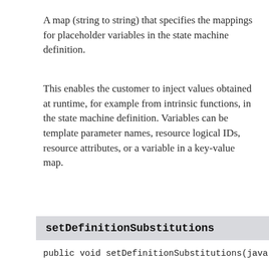A map (string to string) that specifies the mappings for placeholder variables in the state machine definition.
This enables the customer to inject values obtained at runtime, for example from intrinsic functions, in the state machine definition. Variables can be template parameter names, resource logical IDs, resource attributes, or a variable in a key-value map.
setDefinitionSubstitutions
public void setDefinitionSubstitutions(java.util.
A map (string to string) that specifies the mappings for placeholder variables in the state machine definition.
This enables the customer to inject values obtained at runtime, for example from intrinsic functions, in the state machine definition.